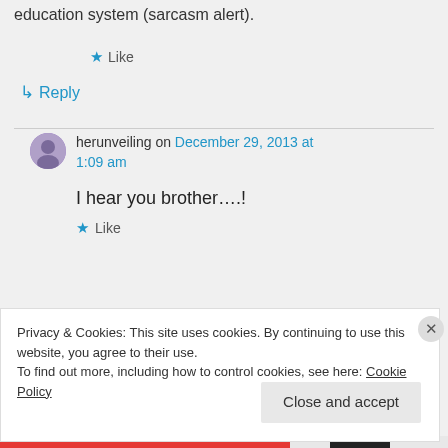education system (sarcasm alert).
★ Like
↳ Reply
herunveiling on December 29, 2013 at 1:09 am
I hear you brother….!
★ Like
Privacy & Cookies: This site uses cookies. By continuing to use this website, you agree to their use.
To find out more, including how to control cookies, see here: Cookie Policy
Close and accept